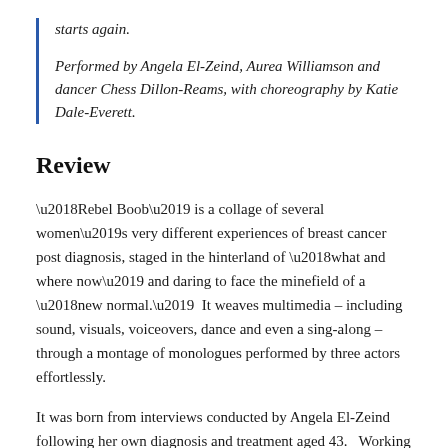starts again.
Performed by Angela El-Zeind, Aurea Williamson and dancer Chess Dillon-Reams, with choreography by Katie Dale-Everett.
Review
‘Rebel Boob’ is a collage of several women’s very different experiences of breast cancer post diagnosis, staged in the hinterland of ‘what and where now’ and daring to face the minefield of a ‘new normal.’  It weaves multimedia – including sound, visuals, voiceovers, dance and even a sing-along – through a montage of monologues performed by three actors effortlessly.
It was born from interviews conducted by Angela El-Zeind following her own diagnosis and treatment aged 43.   Working